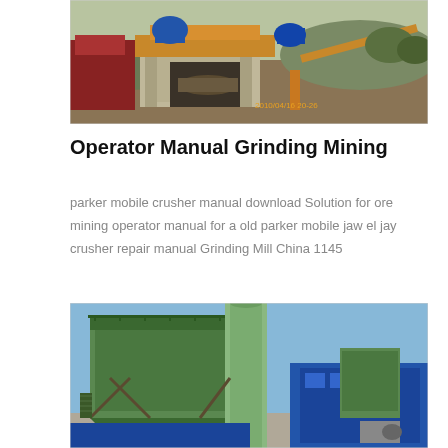[Figure (photo): Outdoor industrial mining/crushing equipment setup with concrete structure, yellow machinery, conveyor belts, and blue motors. Timestamp 2010/04/16 20:26 visible in orange text.]
Operator Manual Grinding Mining
parker mobile crusher manual download Solution for ore mining operator manual for a old parker mobile jaw el jay crusher repair manual Grinding Mill China 1145
[Figure (photo): Industrial grinding mill facility with large green dust collector units, cylindrical pipe structure, blue building in background, and various industrial equipment under a clear blue sky.]